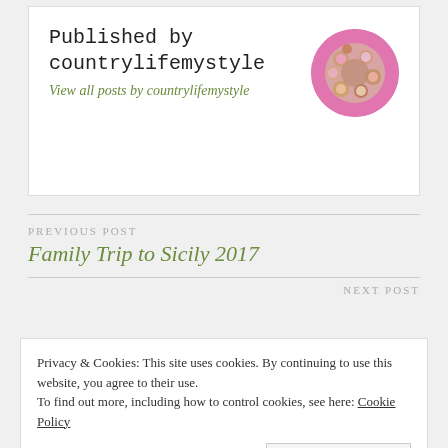Published by countrylifemystyle
View all posts by countrylifemystyle
[Figure (photo): Circular avatar showing a floral wreath with pink and cream flowers against a pink background]
PREVIOUS POST
Family Trip to Sicily 2017
NEXT POST
Privacy & Cookies: This site uses cookies. By continuing to use this website, you agree to their use. To find out more, including how to control cookies, see here: Cookie Policy
Close and accept
Victoria Sponge (A